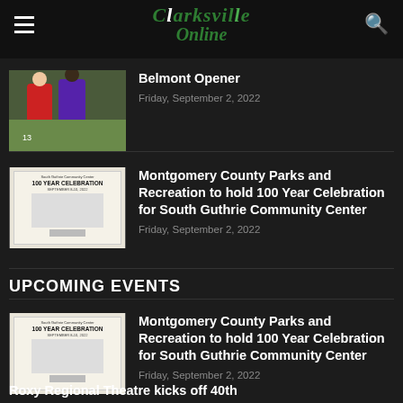Clarksville Online
Belmont Opener
Friday, September 2, 2022
Montgomery County Parks and Recreation to hold 100 Year Celebration for South Guthrie Community Center
Friday, September 2, 2022
UPCOMING EVENTS
Montgomery County Parks and Recreation to hold 100 Year Celebration for South Guthrie Community Center
Friday, September 2, 2022
Roxy Regional Theatre kicks off 40th